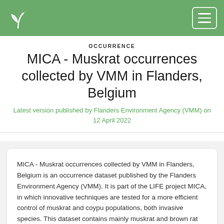MICA - Muskrat occurrences collected by VMM in Flanders, Belgium
OCCURRENCE
MICA - Muskrat occurrences collected by VMM in Flanders, Belgium
Latest version published by Flanders Environment Agency (VMM) on 12 April 2022
MICA - Muskrat occurrences collected by VMM in Flanders, Belgium is an occurrence dataset published by the Flanders Environment Agency (VMM). It is part of the LIFE project MICA, in which innovative techniques are tested for a more efficient control of muskrat and coypu populations, both invasive species. This dataset contains mainly muskrat and brown rat catches. Here it